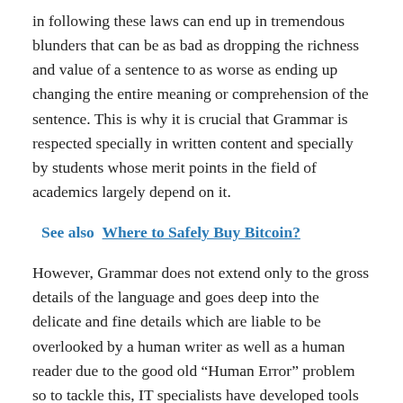in following these laws can end up in tremendous blunders that can be as bad as dropping the richness and value of a sentence to as worse as ending up changing the entire meaning or comprehension of the sentence. This is why it is crucial that Grammar is respected specially in written content and specially by students whose merit points in the field of academics largely depend on it.
See also  Where to Safely Buy Bitcoin?
However, Grammar does not extend only to the gross details of the language and goes deep into the delicate and fine details which are liable to be overlooked by a human writer as well as a human reader due to the good old “Human Error” problem so to tackle this, IT specialists have developed tools to ease the lives of the students in perfecting the grammar in their content, be it